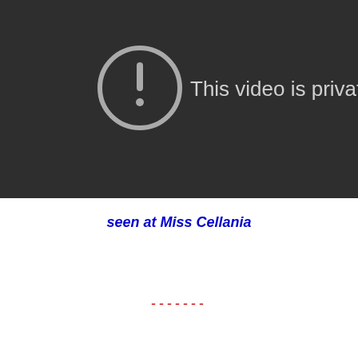[Figure (screenshot): Dark background video player error screen showing a circle with exclamation mark icon and the text 'This video is private' in white/gray on dark gray background.]
seen at Miss Cellania
-------